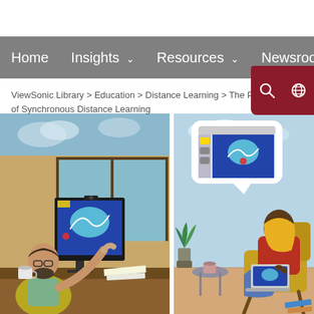Home   Insights   Resources   Newsroom
ViewSonic Library > Education > Distance Learning > The Pros of Synchronous Distance Learning
[Figure (illustration): Two-panel illustration: left panel shows a man with glasses and beard working at a desktop computer with webcam, displaying a data visualization; right panel shows a woman with blonde hair sitting in a chair using a laptop, with a floating screen showing a data visualization above her.]